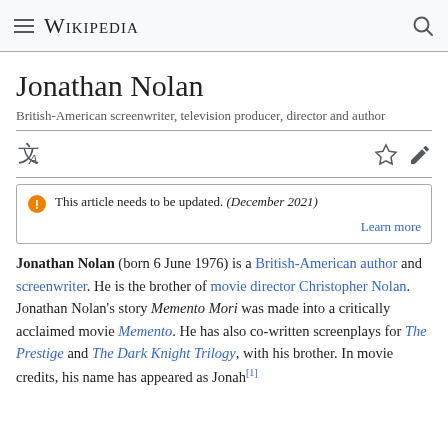Wikipedia
Jonathan Nolan
British-American screenwriter, television producer, director and author
This article needs to be updated. (December 2021)
Learn more
Jonathan Nolan (born 6 June 1976) is a British-American author and screenwriter. He is the brother of movie director Christopher Nolan. Jonathan Nolan's story Memento Mori was made into a critically acclaimed movie Memento. He has also co-written screenplays for The Prestige and The Dark Knight Trilogy, with his brother. In movie credits, his name has appeared as Jonah.[1]